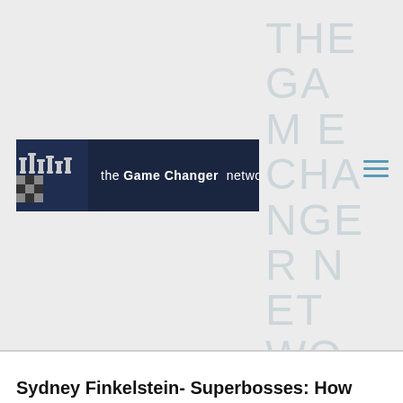[Figure (logo): The Game Changer Network logo banner with chess pieces image on dark navy background and text 'the Game Changer network']
THE GAME CHANGER NETWORK
Sydney Finkelstein- Superbosses: How